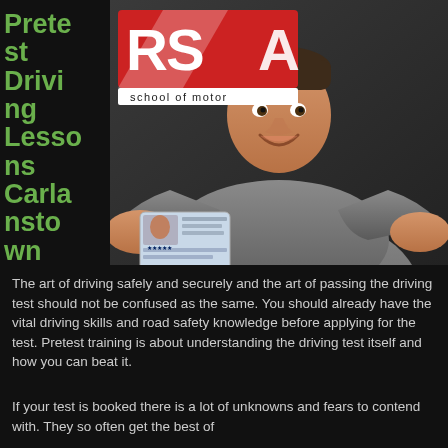Pretest Driving Lessons Carlanstown
[Figure (photo): RSA School of Motoring logo (red and white with RSA text) alongside a smiling young man holding up a driver's license card toward the camera]
The art of driving safely and securely and the art of passing the driving test should not be confused as the same. You should already have the vital driving skills and road safety knowledge before applying for the test. Pretest training is about understanding the driving test itself and how you can beat it.
If your test is booked there is a lot of unknowns and fears to contend with. They so often get the best of